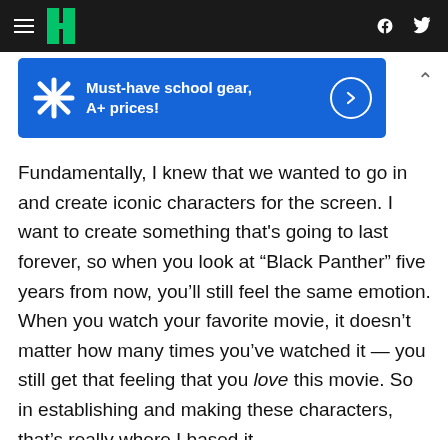HuffPost navigation bar with hamburger menu, logo, Facebook and Twitter icons
[Figure (other): Walmart advertisement banner: spark logo, text 'Must-have school gear, A+ prices!', arrow circle button]
Fundamentally, I knew that we wanted to go in and create iconic characters for the screen. I want to create something that's going to last forever, so when you look at “Black Panther” five years from now, you’ll still feel the same emotion. When you watch your favorite movie, it doesn’t matter how many times you’ve watched it — you still get that feeling that you love this movie. So in establishing and making these characters, that’s really where I based it.